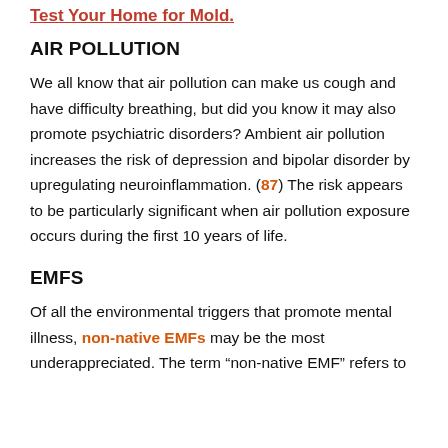Test Your Home for Mold.
AIR POLLUTION
We all know that air pollution can make us cough and have difficulty breathing, but did you know it may also promote psychiatric disorders? Ambient air pollution increases the risk of depression and bipolar disorder by upregulating neuroinflammation. (87) The risk appears to be particularly significant when air pollution exposure occurs during the first 10 years of life.
EMFS
Of all the environmental triggers that promote mental illness, non-native EMFs may be the most underappreciated. The term "non-native EMF" refers to